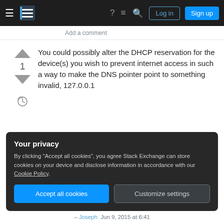≡  [Stack Exchange logo]  ?  ≡  🔍  Log in  Sign up
Add a comment
You could possibly alter the DHCP reservation for the device(s) you wish to prevent internet access in such a way to make the DNS pointer point to something invalid, 127.0.0.1
Not sure if it's what you're after but it could be worth looking into. If I had OS X server myself, I'd write you up an applescript snippet to do the switching quickly and automagically.
Your privacy
By clicking "Accept all cookies", you agree Stack Exchange can store cookies on your device and disclose information in accordance with our Cookie Policy.
Accept all cookies   Customize settings
– Joseph  Jun 9, 2015 at 6:41